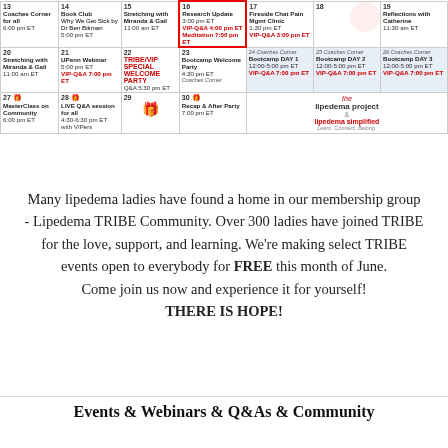[Figure (table-as-image): Monthly calendar showing lipedema community events for dates 13-30, including Coaches Corner, Book Club, Stretching, Research Update, Fireside Chat, Bootcamp days, MasterClass, and more.]
Many lipedema ladies have found a home in our membership group - Lipedema TRIBE Community. Over 300 ladies have joined TRIBE for the love, support, and learning. We're making select TRIBE events open to everybody for FREE this month of June. Come join us now and experience it for yourself! THERE IS HOPE!
Events & Webinars & Q&As & Community